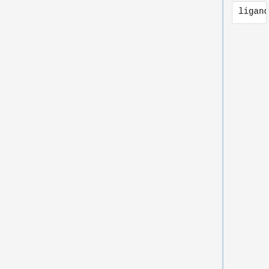[Figure (screenshot): Code block showing configuration parameters: ligand_outfile_prefix, rescore.out, write_footprints, yes, write_hbonds, no, write_orientations, no, num_scored_conformers, 1, rank_ligands, no]
This will generate three output files.
[Figure (screenshot): Code block listing output files: 2nnq.footprint_rescore.out, rescore.out_footprint_scored.tx, rescore.out_scored.mol2]
Use these files to specify the primary residues. Create a new file specify.sh using the following lines which are taken